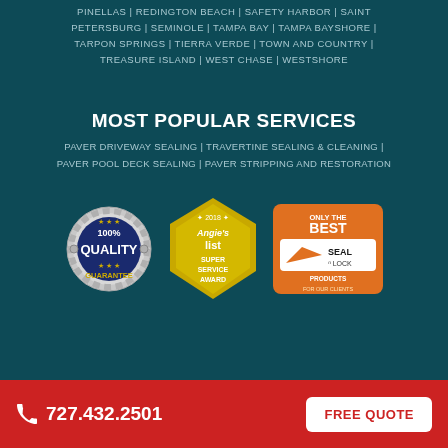PINELLAS | REDINGTON BEACH | SAFETY HARBOR | SAINT PETERSBURG | SEMINOLE | TAMPA BAY | TAMPA BAYSHORE | TARPON SPRINGS | TIERRA VERDE | TOWN AND COUNTRY | TREASURE ISLAND | WEST CHASE | WESTSHORE
MOST POPULAR SERVICES
PAVER DRIVEWAY SEALING | TRAVERTINE SEALING & CLEANING | PAVER POOL DECK SEALING | PAVER STRIPPING AND RESTORATION
[Figure (logo): 100% Quality Guarantee badge - circular silver/navy seal]
[Figure (logo): 2018 Angie's List Super Service Award - gold pentagon badge]
[Figure (logo): Seal-n-Lock Only the Best Products for Our Clients - orange badge with logo]
727.432.2501   FREE QUOTE